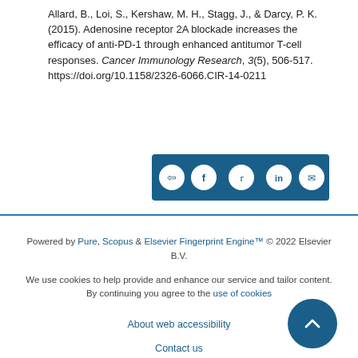Allard, B., Loi, S., Kershaw, M. H., Stagg, J., & Darcy, P. K. (2015). Adenosine receptor 2A blockade increases the efficacy of anti-PD-1 through enhanced antitumor T-cell responses. Cancer Immunology Research, 3(5), 506-517. https://doi.org/10.1158/2326-6066.CIR-14-0211
[Figure (other): Social share button bar with share, Facebook, Twitter, LinkedIn, and email icons on a dark blue background]
Powered by Pure, Scopus & Elsevier Fingerprint Engine™ © 2022 Elsevier B.V.

We use cookies to help provide and enhance our service and tailor content. By continuing you agree to the use of cookies

About web accessibility
Contact us